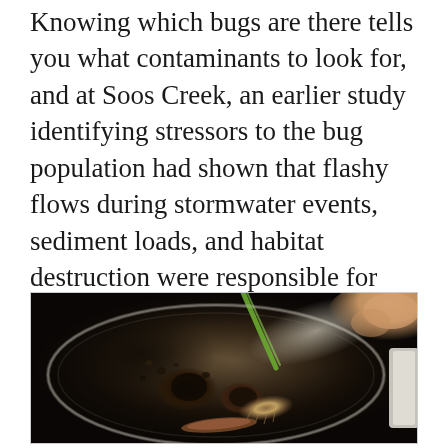Knowing which bugs are there tells you what contaminants to look for, and at Soos Creek, an earlier study identifying stressors to the bug population had shown that flashy flows during stormwater events, sediment loads, and habitat destruction were responsible for low B-IBI scores in the watershed.
[Figure (photo): Close-up photo of a petri dish containing macroinvertebrate specimens (aquatic insects, larvae, worm) being examined with green tweezers. A hand is visible in the upper right holding the tweezers over the dish. The background is dark and the dish shows various small bug specimens used for biological assessment.]